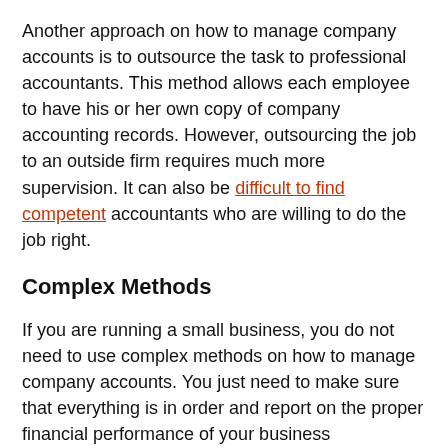Another approach on how to manage company accounts is to outsource the task to professional accountants. This method allows each employee to have his or her own copy of company accounting records. However, outsourcing the job to an outside firm requires much more supervision. It can also be difficult to find competent accountants who are willing to do the job right.
Complex Methods
If you are running a small business, you do not need to use complex methods on how to manage company accounts. You just need to make sure that everything is in order and report on the proper financial performance of your business periodically. It would also help if you have a dedicated person to handle these matters. Hiring a